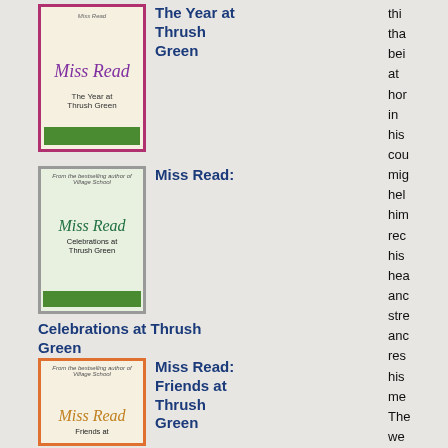[Figure (illustration): Book cover for 'The Year at Thrush Green' by Miss Read, with pink/magenta border, script title and green bottom strip]
The Year at Thrush Green
[Figure (illustration): Book cover for 'Celebrations at Thrush Green' by Miss Read, with gray border, green watercolor illustration, script title]
Miss Read:
Celebrations at Thrush Green
[Figure (illustration): Book cover for 'Friends at Thrush Green' by Miss Read, with orange border, script title]
Miss Read: Friends at Thrush Green
thi
tha
bei
at
hor
in
his
cou
mig
hel
him
rec
his
hea
anc
stre
anc
res
his
me
The
we